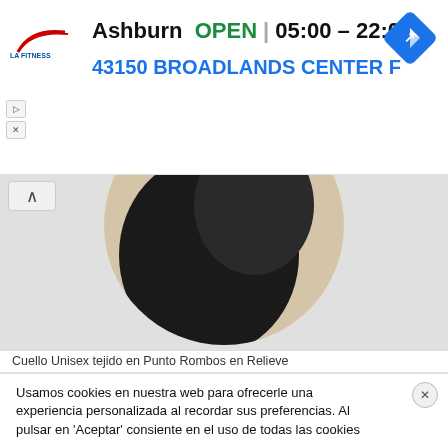[Figure (screenshot): LA Fitness advertisement banner showing Ashburn location, OPEN status, hours 05:00-22:00, address 43150 BROADLANDS CENTER F, with navigation icon and LA Fitness logo]
[Figure (photo): Product photo showing a circular cropped image of a dark knitted collar/neck accessory (Cuello Unisex) on a beige/wood background]
Cuello Unisex tejido en Punto Rombos en Relieve
Usamos cookies en nuestra web para ofrecerle una experiencia personalizada al recordar sus preferencias. Al pulsar en 'Aceptar' consiente en el uso de todas las cookies
No vender mi información personal. Leer más Rechazar
Aceptar
Configuración de cookies